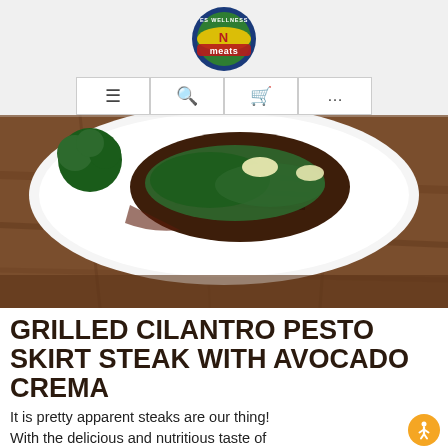[Figure (logo): ES Wellness Meats circular logo with globe and meat imagery]
[Figure (other): Navigation bar with hamburger menu, search, cart, and ellipsis icons]
[Figure (photo): Grilled skirt steak topped with cilantro pesto and avocado crema on a white plate, on a wooden surface]
GRILLED CILANTRO PESTO SKIRT STEAK WITH AVOCADO CREMA
It is pretty apparent steaks are our thing! With the delicious and nutritious taste of